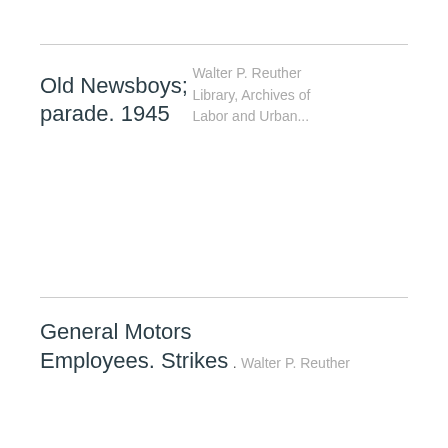Old Newsboys; parade. 1945
Walter P. Reuther Library, Archives of Labor and Urban...
General Motors Employees. Strikes
.
Walter P. Reuther